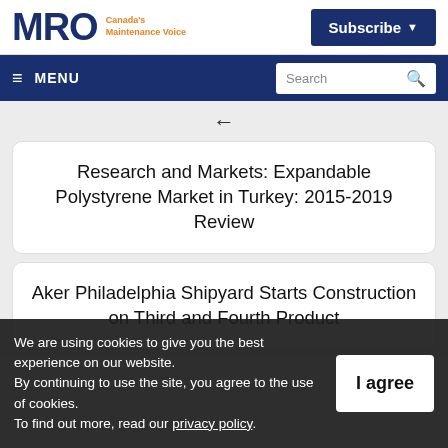MRO Canada's Maintenance Voice
Subscribe
MENU | Search
←
Research and Markets: Expandable Polystyrene Market in Turkey: 2015-2019 Review
Aker Philadelphia Shipyard Starts Construction on Third and Fourth Product
We are using cookies to give you the best experience on our website.
By continuing to use the site, you agree to the use of cookies.
To find out more, read our privacy policy.
I agree